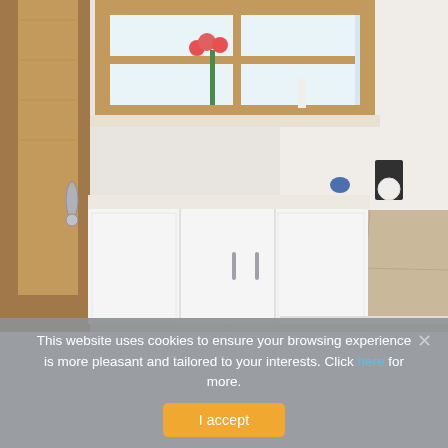[Figure (photo): Interior room photo showing white built-in cabinets below a wooden-framed window with flowers, wood-look tile flooring, and a door with silver handle on the left.]
This website uses cookies to ensure your browsing experience is more pleasant and tailored to your interests. Click here for more.
I accept